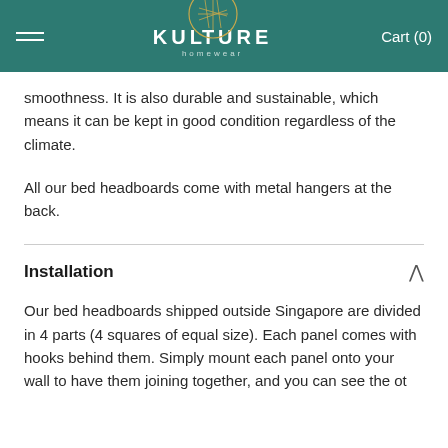KULTURE homewear  Cart (0)
smoothness. It is also durable and sustainable, which means it can be kept in good condition regardless of the climate.
All our bed headboards come with metal hangers at the back.
Installation
Our bed headboards shipped outside Singapore are divided in 4 parts (4 squares of equal size). Each panel comes with hooks behind them. Simply mount each panel onto your wall to have them joining together, and you can see the ot...